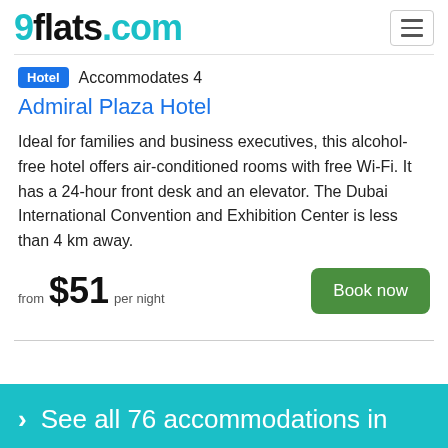9flats.com
Hotel  Accommodates 4
Admiral Plaza Hotel
Ideal for families and business executives, this alcohol-free hotel offers air-conditioned rooms with free Wi-Fi. It has a 24-hour front desk and an elevator. The Dubai International Convention and Exhibition Center is less than 4 km away.
from $51 per night
Book now
> See all 76 accommodations in